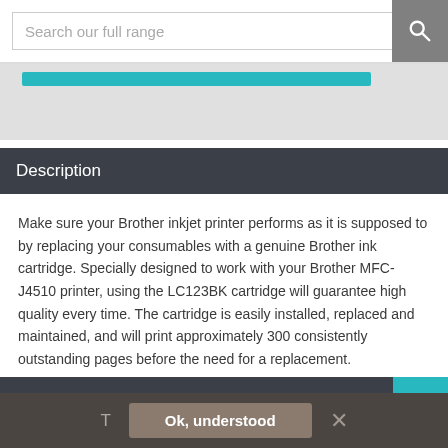Search our full range
[Figure (screenshot): Grey banner with teal bar visible at top]
Description
Make sure your Brother inkjet printer performs as it is supposed to by replacing your consumables with a genuine Brother ink cartridge. Specially designed to work with your Brother MFC-J4510 printer, using the LC123BK cartridge will guarantee high quality every time. The cartridge is easily installed, replaced and maintained, and will print approximately 300 consistently outstanding pages before the need for a replacement.
Product Details
T   Ok, understood   ×